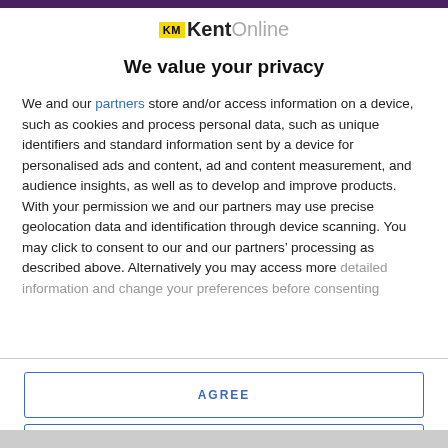[Figure (logo): KM KentOnline logo with yellow KM badge and grey Online text]
We value your privacy
We and our partners store and/or access information on a device, such as cookies and process personal data, such as unique identifiers and standard information sent by a device for personalised ads and content, ad and content measurement, and audience insights, as well as to develop and improve products. With your permission we and our partners may use precise geolocation data and identification through device scanning. You may click to consent to our and our partners’ processing as described above. Alternatively you may access more detailed information and change your preferences before consenting
AGREE
MORE OPTIONS